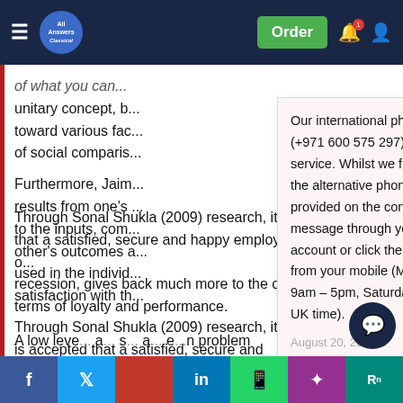[Figure (screenshot): Navigation bar with hamburger menu, All Answers logo, Order button, notification bell and user icon]
...of what you can... unitary concept, b... toward various fac... of social comparis...
Furthermore, Jaim... results from one's ... to the inputs, com... other's outcomes a... used in the individ... satisfaction with th...
Our international phone number (+971 600 575 297) is currently out of service. Whilst we fix this, please use the alternative phone numbers provided on the contact page, message through your customer account or click the WhatsApp button from your mobile (Monday – Friday 9am – 5pm, Saturday 10am – 6pm UK time).
August 20, 2022
Through Sonal Shukla (2009) research, it is accepted that a satisfied, secure and happy employee during times of recession, gives back much more to the organization in terms of loyalty and performance.
A low leve... a... s... a... e... n problem